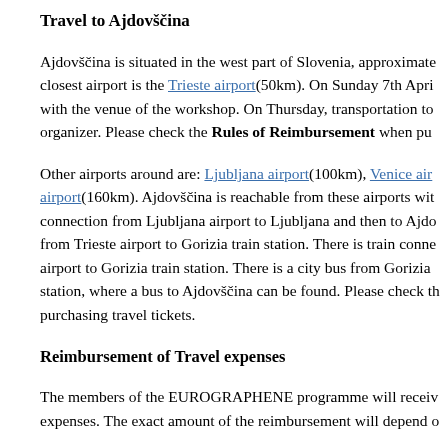Travel to Ajdovščina
Ajdovščina is situated in the west part of Slovenia, approximate closest airport is the Trieste airport(50km). On Sunday 7th Apri with the venue of the workshop. On Thursday, transportation to organizer. Please check the Rules of Reimbursement when pu
Other airports around are: Ljubljana airport(100km), Venice air airport(160km). Ajdovščina is reachable from these airports wit connection from Ljubljana airport to Ljubljana and then to Ajdo from Trieste airport to Gorizia train station. There is train conne airport to Gorizia train station. There is a city bus from Gorizia station, where a bus to Ajdovščina can be found. Please check th purchasing travel tickets.
Reimbursement of Travel expenses
The members of the EUROGRAPHENE programme will receiv expenses. The exact amount of the reimbursement will depend o